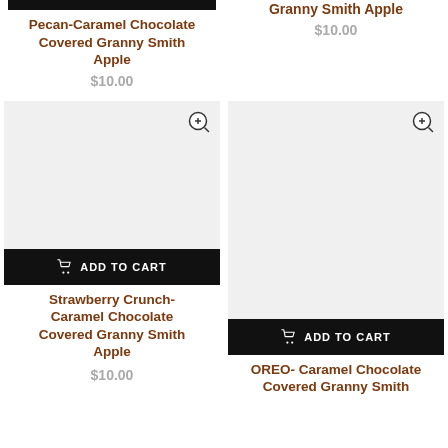[Figure (photo): Partially visible product image (black bar at top) for Pecan-Caramel Chocolate Covered Granny Smith Apple]
Pecan-Caramel Chocolate Covered Granny Smith Apple
$10.00
[Figure (photo): Partially visible product image with zoom icon for Granny Smith Apple]
Granny Smith Apple
$10.00
[Figure (photo): Product image placeholder with zoom icon for Strawberry Crunch-Caramel Chocolate Covered Granny Smith Apple, with ADD TO CART button]
Strawberry Crunch-Caramel Chocolate Covered Granny Smith Apple
$10.00
[Figure (photo): Product image placeholder with zoom icon for OREO-Caramel Chocolate Covered Granny Smith Apple, with ADD TO CART button]
OREO-Caramel Chocolate Covered Granny Smith